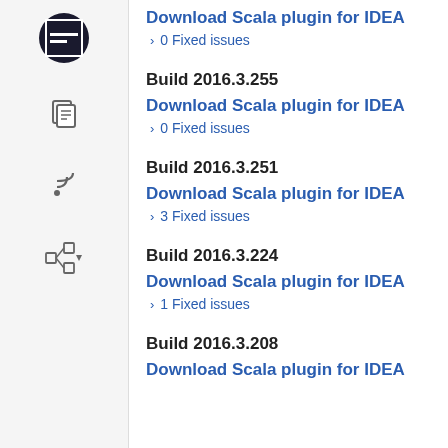Download Scala plugin for IDEA
> 0 Fixed issues
Build 2016.3.255
Download Scala plugin for IDEA
> 0 Fixed issues
Build 2016.3.251
Download Scala plugin for IDEA
> 3 Fixed issues
Build 2016.3.224
Download Scala plugin for IDEA
> 1 Fixed issues
Build 2016.3.208
Download Scala plugin for IDEA